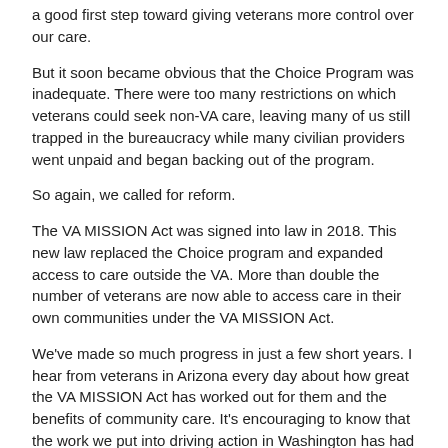a good first step toward giving veterans more control over our care.
But it soon became obvious that the Choice Program was inadequate. There were too many restrictions on which veterans could seek non-VA care, leaving many of us still trapped in the bureaucracy while many civilian providers went unpaid and began backing out of the program.
So again, we called for reform.
The VA MISSION Act was signed into law in 2018. This new law replaced the Choice program and expanded access to care outside the VA. More than double the number of veterans are now able to access care in their own communities under the VA MISSION Act.
We've made so much progress in just a few short years. I hear from veterans in Arizona every day about how great the VA MISSION Act has worked out for them and the benefits of community care. It's encouraging to know that the work we put into driving action in Washington has had a real impact on people's lives.
But the reforms aren't done yet.
There are still many veterans who are waiting too long for medical care or are getting inadequate care. That's why we continue calling for more reforms to the VA health care system.